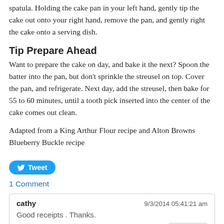spatula. Holding the cake pan in your left hand, gently tip the cake out onto your right hand, remove the pan, and gently right the cake onto a serving dish.
Tip Prepare Ahead
Want to prepare the cake on day, and bake it the next? Spoon the batter into the pan, but don't sprinkle the streusel on top. Cover the pan, and refrigerate. Next day, add the streusel, then bake for 55 to 60 minutes, until a tooth pick inserted into the center of the cake comes out clean.
Adapted from a King Arthur Flour recipe and Alton Browns Blueberry Buckle recipe
[Figure (other): Tweet button with Twitter bird icon]
1 Comment
cathy — 9/3/2014 05:41:21 am — Good receipts . Thanks. — REPLY